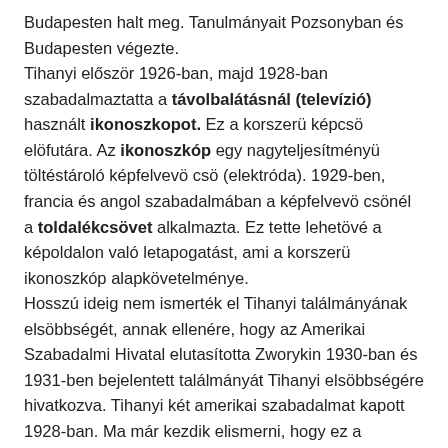Budapesten halt meg. Tanulmányait Pozsonyban és Budapesten végezte. Tihanyi először 1926-ban, majd 1928-ban szabadalmaztatta a távolbalátásnál (televízió) használt ikonoszkopot. Ez a korszerü képcsö elöfutára. Az ikonoszkóp egy nagyteljesítményü töltéstároló képfelvevö csö (elektróda). 1929-ben, francia és angol szabadalmában a képfelvevö csönél a toldalékcsövet alkalmazta. Ez tette lehetövé a képoldalon való letapogatást, ami a korszerü ikonoszkóp alapkövetelménye. Hosszú ideig nem ismerték el Tihanyi találmányának elsöbbségét, annak ellenére, hogy az Amerikai Szabadalmi Hivatal elutasította Zworykin 1930-ban és 1931-ben bejelentett találmányát Tihanyi elsöbbségére hivatkozva. Tihanyi két amerikai szabadalmat kapott 1928-ban. Ma már kezdik elismerni, hogy ez a nagyjelentöségü találmány a